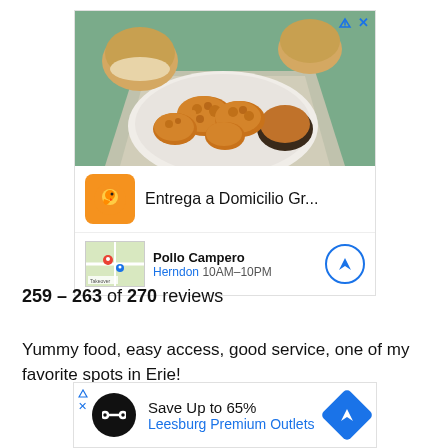[Figure (photo): Advertisement banner showing fried chicken nuggets on a plate with dipping sauce and bread rolls in background. Shows 'Entrega a Domicilio Gr...' ad for Pollo Campero restaurant, Herndon 10AM-10PM.]
259 – 263 of 270 reviews
Yummy food, easy access, good service, one of my favorite spots in Erie!
[Figure (screenshot): Advertisement for 'Save Up to 65% Leesburg Premium Outlets' with black circular logo and blue navigation arrow.]